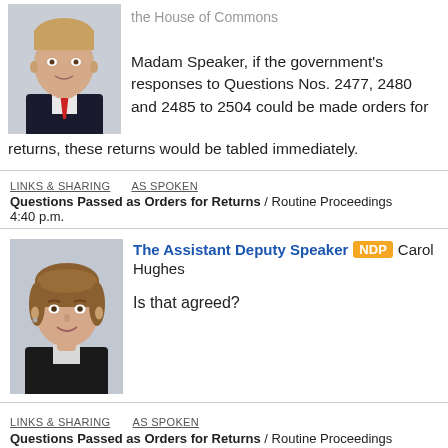[Figure (photo): Portrait photo of a man in a suit with a red tie, light background]
the House of Commons

Madam Speaker, if the government's responses to Questions Nos. 2477, 2480 and 2485 to 2504 could be made orders for returns, these returns would be tabled immediately.
LINKS & SHARING   AS SPOKEN
Questions Passed as Orders for Returns / Routine Proceedings
4:40 p.m.
[Figure (photo): Portrait photo of a woman with short brown hair, smiling, in a dark jacket]
The Assistant Deputy Speaker NDP Carol Hughes

Is that agreed?
LINKS & SHARING   AS SPOKEN
Questions Passed as Orders for Returns / Routine Proceedings
4:40 p.m.